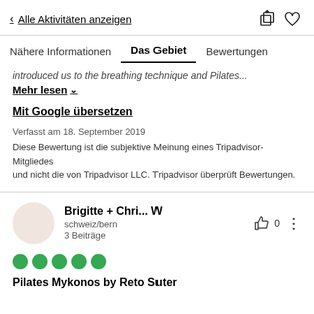< Alle Aktivitäten anzeigen
Nähere Informationen | Das Gebiet | Bewertungen
introduced us to the breathing technique and Pilates...
Mehr lesen ∨
Mit Google übersetzen
Verfasst am 18. September 2019
Diese Bewertung ist die subjektive Meinung eines Tripadvisor-Mitgliedes und nicht die von Tripadvisor LLC. Tripadvisor überprüft Bewertungen.
Brigitte + Chri... W
schweiz/bern
3 Beiträge
Pilates Mykonos by Reto Suter